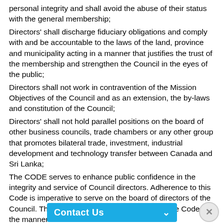personal integrity and shall avoid the abuse of their status with the general membership;
Directors' shall discharge fiduciary obligations and comply with and be accountable to the laws of the land, province and municipality acting in a manner that justifies the trust of the membership and strengthen the Council in the eyes of the public;
Directors shall not work in contravention of the Mission Objectives of the Council and as an extension, the by-laws and constitution of the Council;
Directors' shall not hold parallel positions on the board of other business councils, trade chambers or any other group that promotes bilateral trade, investment, industrial development and technology transfer between Canada and Sri Lanka;
The CODE serves to enhance public confidence in the integrity and service of Council directors. Adherence to this Code is imperative to serve on the board of directors of the Council. The board shall interpret and enforce the Code in the manner set out in the Co...ss.